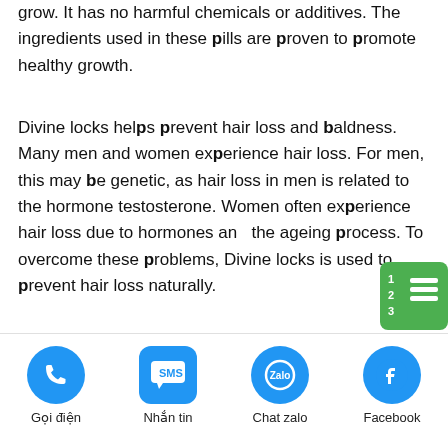grow. It has no harmful chemicals or additives. The ingredients used in these pills are proven to promote healthy growth.
Divine locks helps prevent hair loss and baldness. Many men and women experience hair loss. For men, this may be genetic, as hair loss in men is related to the hormone testosterone. Women often experience hair loss due to hormones and the ageing process. To overcome these problems, Divine locks is used to prevent hair loss naturally.
Divine locks reviews show that this product is
[Figure (infographic): Green menu icon with numbered list lines (123 and three horizontal white bars) in the upper right of the content area]
Gọi điện | Nhắn tin | Chat zalo | Facebook